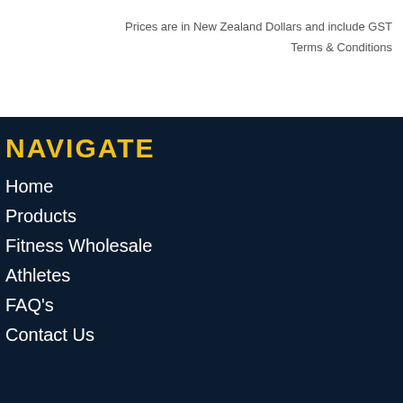Prices are in New Zealand Dollars and include GST
Terms & Conditions
NAVIGATE
Home
Products
Fitness Wholesale
Athletes
FAQ's
Contact Us